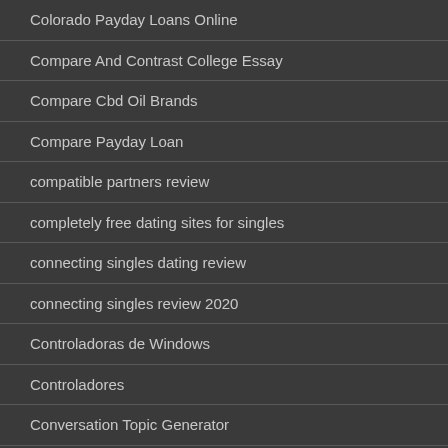Colorado Payday Loans Online
Compare And Contrast College Essay
Compare Cbd Oil Brands
Compare Payday Loan
compatible partners review
completely free dating sites for singles
connecting singles dating review
connecting singles review 2020
Controladoras de Windows
Controladores
Conversation Topic Generator